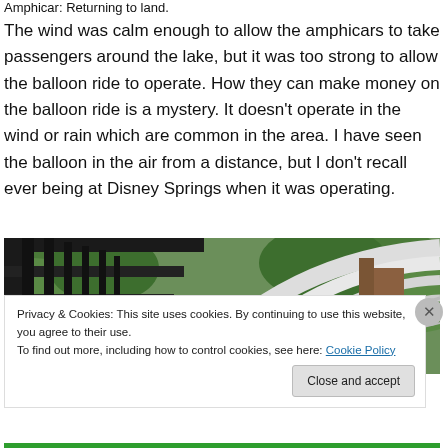Amphicar: Returning to land.
The wind was calm enough to allow the amphicars to take passengers around the lake, but it was too strong to allow the balloon ride to operate. How they can make money on the balloon ride is a mystery. It doesn't operate in the wind or rain which are common in the area. I have seen the balloon in the air from a distance, but I don't recall ever being at Disney Springs when it was operating.
[Figure (photo): Close-up photo of a white bridge railing structure with green trees in the background at Disney Springs]
Privacy & Cookies: This site uses cookies. By continuing to use this website, you agree to their use.
To find out more, including how to control cookies, see here: Cookie Policy
Close and accept